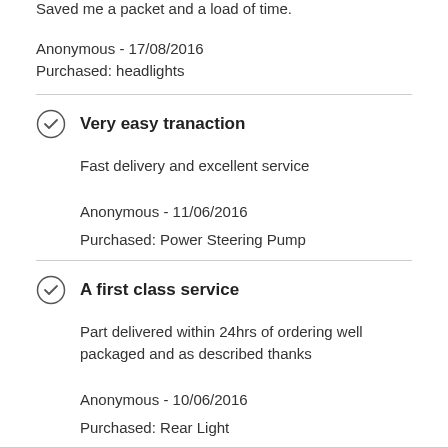Saved me a packet and a load of time.
Anonymous - 17/08/2016
Purchased: headlights
Very easy tranaction
Fast delivery and excellent service
Anonymous - 11/06/2016
Purchased: Power Steering Pump
A first class service
Part delivered within 24hrs of ordering well packaged and as described thanks
Anonymous - 10/06/2016
Purchased: Rear Light